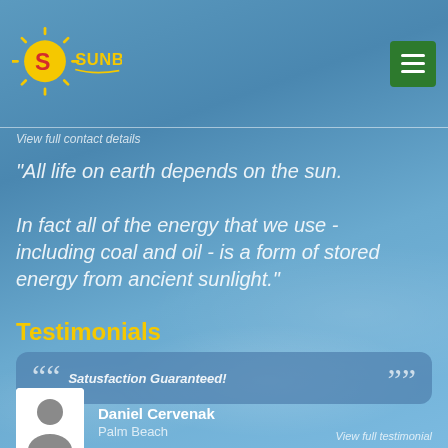[Figure (logo): Sunbeam logo with sun graphic and yellow/red text on white background, with green hamburger menu button]
View full contact details
"All life on earth depends on the sun. In fact all of the energy that we use - including coal and oil - is a form of stored energy from ancient sunlight."
Testimonials
Satusfaction Guaranteed!
[Figure (photo): Silhouette avatar of a person on white background]
Daniel Cervenak
Palm Beach
View full testimonial